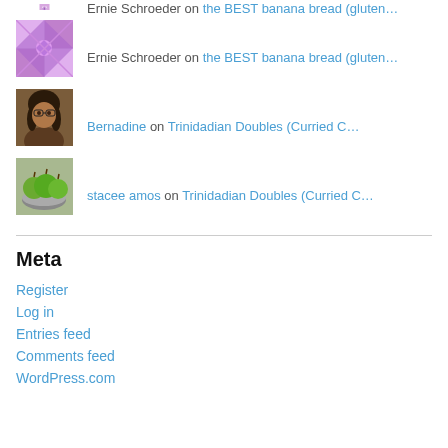[Figure (photo): Quilt pattern avatar - pink/purple geometric pattern, partially visible at top]
Ernie Schroeder on the BEST banana bread (gluten…
[Figure (photo): Photo of a young woman with braids]
Bernadine on Trinidadian Doubles (Curried C…
[Figure (photo): Photo of green apples in a bowl]
stacee amos on Trinidadian Doubles (Curried C…
Meta
Register
Log in
Entries feed
Comments feed
WordPress.com